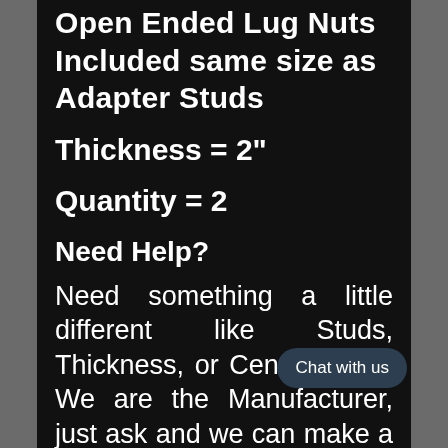Open Ended Lug Nuts Included same size as Adapter Studs
Thickness = 2"
Quantity = 2
Need Help?
Need something a little different like Studs, Thickness, or Center Bore? We are the Manufacturer, just ask and we can make a listing for you.
If you have questions, please message us and get the answers